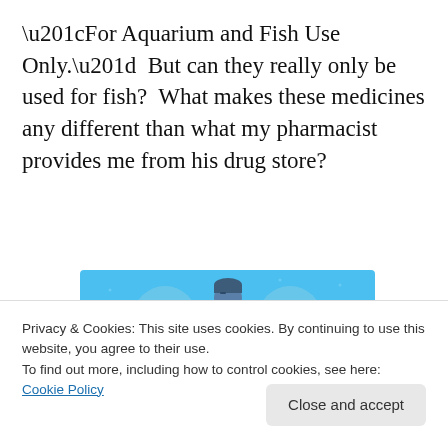“For Aquarium and Fish Use Only.”  But can they really only be used for fish?  What makes these medicines any different than what my pharmacist provides me from his drug store?
[Figure (illustration): Day One journaling app advertisement banner. Blue background with illustration of a person holding a phone, flanked by two circular icons (notebook and list). Text reads 'DAY ONE' and 'The only journaling app you’ll ever need.']
Privacy & Cookies: This site uses cookies. By continuing to use this website, you agree to their use.
To find out more, including how to control cookies, see here: Cookie Policy
Yes, using animal drugs may sound more unsafe than